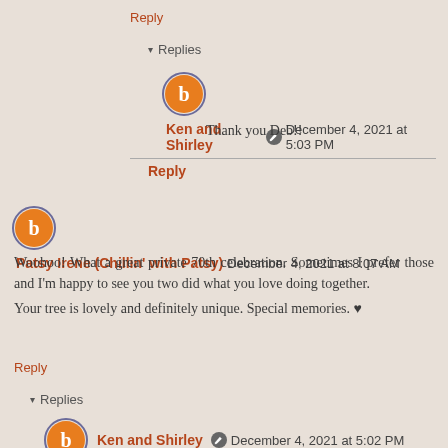Reply
▾ Replies
Ken and Shirley  December 4, 2021 at 5:03 PM
Thank you Deb!!
Reply
Patsy Irene (Chillin' with Patsy)  December 4, 2021 at 8:07 AM
Woohoo! What a great private 70th celebration. Sometimes I prefer those and I'm happy to see you two did what you love doing together.
Your tree is lovely and definitely unique. Special memories. ♥
Reply
▾ Replies
Ken and Shirley  December 4, 2021 at 5:02 PM